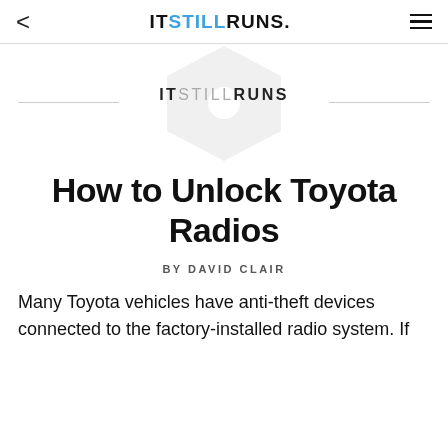< ITSTILLRUNS. ≡
[Figure (logo): ITSTILLRUNS logo with hexagon bolt watermark and horizontal divider lines]
How to Unlock Toyota Radios
BY DAVID CLAIR
Many Toyota vehicles have anti-theft devices connected to the factory-installed radio system. If